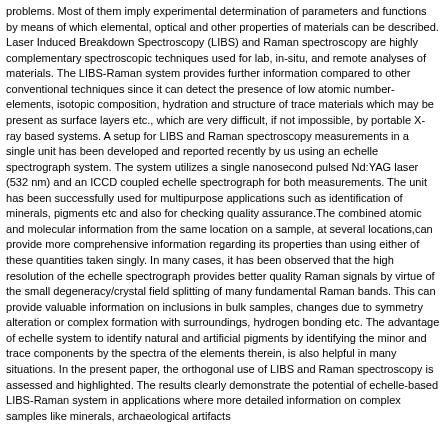problems. Most of them imply experimental determination of parameters and functions by means of which elemental, optical and other properties of materials can be described. Laser Induced Breakdown Spectroscopy (LIBS) and Raman spectroscopy are highly complementary spectroscopic techniques used for lab, in-situ, and remote analyses of materials. The LIBS-Raman system provides further information compared to other conventional techniques since it can detect the presence of low atomic number-elements, isotopic composition, hydration and structure of trace materials which may be present as surface layers etc., which are very difficult, if not impossible, by portable X-ray based systems. A setup for LIBS and Raman spectroscopy measurements in a single unit has been developed and reported recently by us using an echelle spectrograph system. The system utilizes a single nanosecond pulsed Nd:YAG laser (532 nm) and an ICCD coupled echelle spectrograph for both measurements. The unit has been successfully used for multipurpose applications such as identification of minerals, pigments etc and also for checking quality assurance.The combined atomic and molecular information from the same location on a sample, at several locations,can provide more comprehensive information regarding its properties than using either of these quantities taken singly. In many cases, it has been observed that the high resolution of the echelle spectrograph provides better quality Raman signals by virtue of the small degeneracy/crystal field splitting of many fundamental Raman bands. This can provide valuable information on inclusions in bulk samples, changes due to symmetry alteration or complex formation with surroundings, hydrogen bonding etc. The advantage of echelle system to identify natural and artificial pigments by identifying the minor and trace components by the spectra of the elements therein, is also helpful in many situations. In the present paper, the orthogonal use of LIBS and Raman spectroscopy is assessed and highlighted. The results clearly demonstrate the potential of echelle-based LIBS-Raman system in applications where more detailed information on complex samples like minerals, archaeological artifacts